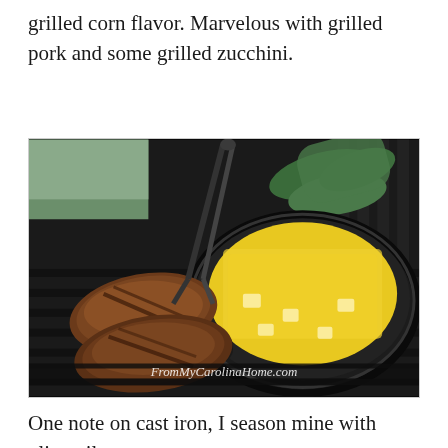grilled corn flavor. Marvelous with grilled pork and some grilled zucchini.
[Figure (photo): A cast iron skillet filled with corn kernels and butter cubes cooking on a gas grill, alongside grilled pork chops being turned with tongs. Zucchini pieces are visible on the grill grates in the background. A watermark reads 'FromMyCarolinaHome.com'.]
One note on cast iron, I season mine with olive oil